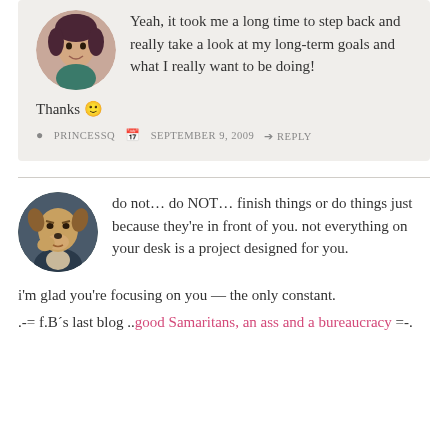[Figure (photo): Circular avatar of a young woman with dark hair, smiling, wearing a patterned top]
Yeah, it took me a long time to step back and really take a look at my long-term goals and what I really want to be doing!
Thanks 🙂
PRINCESSQ   SEPTEMBER 9, 2009   REPLY
[Figure (illustration): Circular avatar of a cartoon anthropomorphic dog character, looking worried or surprised]
do not… do NOT… finish things or do things just because they're in front of you. not everything on your desk is a project designed for you.
i'm glad you're focusing on you — the only constant.
.-= f.B´s last blog ..good Samaritans, an ass and a bureaucracy =-.